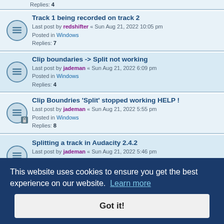Replies: 4
Track 1 being recorded on track 2 — Last post by redshifter « Sun Aug 21, 2022 10:05 pm — Posted in Windows — Replies: 7
Clip boundaries -> Split not working — Last post by jademan « Sun Aug 21, 2022 6:09 pm — Posted in Windows — Replies: 4
Clip Boundries 'Split' stopped working HELP ! — Last post by jademan « Sun Aug 21, 2022 5:55 pm — Posted in Windows — Replies: 8
Splitting a track in Audacity 2.4.2 — Last post by jademan « Sun Aug 21, 2022 5:46 pm — Posted in Windows — Replies: 16 — Pages: 1 2
Seemless loop/Repeat question — Last post by jademan « Sun Aug 21, 2022 11:30 am — Posted in Windows
Last post by jademan « Sun Aug 21, 2022 11:22 am — Posted in macOS — Replies: ...
How to make everything the same volume? — Last post by papyus « Sat Aug 20, 2022 4:45 pm — Posted in Windows — Replies: 7
This website uses cookies to ensure you get the best experience on our website. Learn more
Got it!